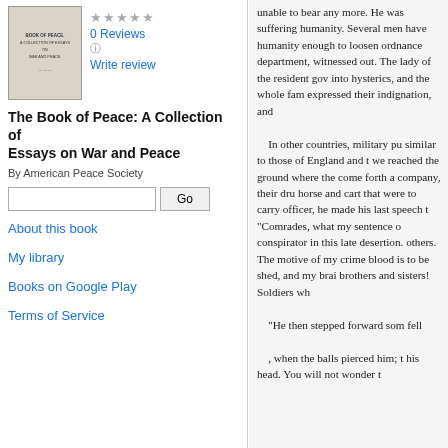[Figure (illustration): Book cover of 'The Book of Peace: A Collection of Essays on War and Peace' by American Peace Society]
0 Reviews
Write review
The Book of Peace: A Collection of Essays on War and Peace
By American Peace Society
About this book
My library
Books on Google Play
Terms of Service
unable to bear any more. He was suffering humanity. Several men have humanity enough to loosen ordnance department, witnessed out. The lady of the resident gov into hysterics, and the whole fam expressed their indignation, and

In other countries, military pu similar to those of England and t we reached the ground where the come forth a company, their dru horse and cart that were to carry officer, he made his last speech t "Comrades, what my sentence o conspirator in this late desertion. others. The motive of my crime blood is to be shed, and my brai brothers and sisters! Soldiers wh

“He then stepped forward som fell

, when the balls pierced him; t his head. You will not wonder t